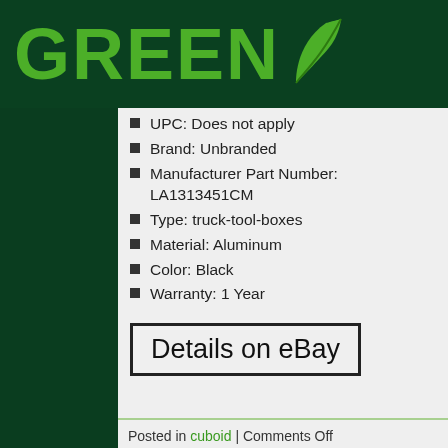[Figure (logo): GREEN logo with leaf icon in bright green on dark green background]
UPC: Does not apply
Brand: Unbranded
Manufacturer Part Number: LA1313451CM
Type: truck-tool-boxes
Material: Aluminum
Color: Black
Warranty: 1 Year
Details on eBay
Posted in cuboid | Comments Off
Tags: aluminum, black, cuboid, pickup, tool, trailer, truck, unde